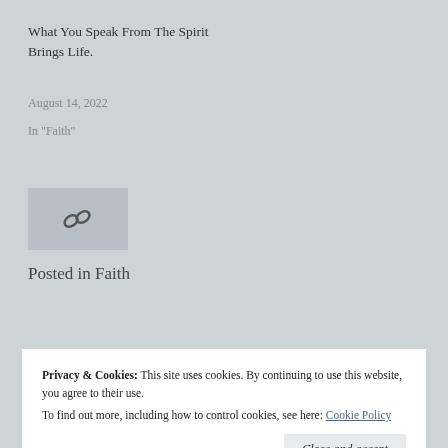What You Speak From The Spirit Brings Life.
August 14, 2022
In "Faith"
[Figure (other): A small thumbnail image placeholder with a chain link icon]
Posted in Faith
Privacy & Cookies:  This site uses cookies. By continuing to use this website, you agree to their use.
To find out more, including how to control cookies, see here: Cookie Policy
Close and accept